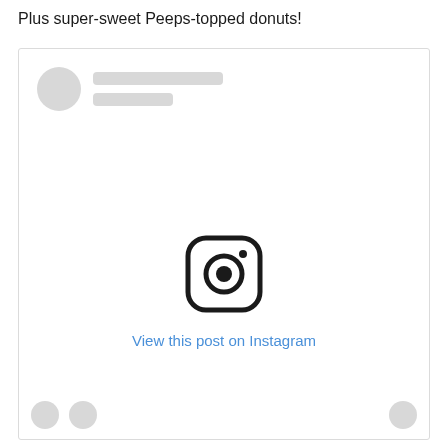Plus super-sweet Peeps-topped donuts!
[Figure (screenshot): An embedded Instagram post placeholder widget showing a circular avatar placeholder, two gray skeleton lines for username, a large Instagram camera logo icon in the center, a blue 'View this post on Instagram' link, and three gray circular reaction/action icons at the bottom.]